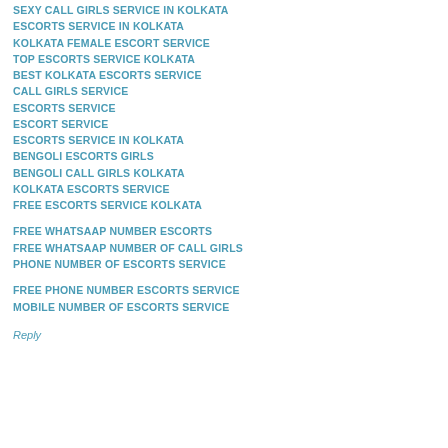SEXY CALL GIRLS SERVICE IN KOLKATA
ESCORTS SERVICE IN KOLKATA
KOLKATA FEMALE ESCORT SERVICE
TOP ESCORTS SERVICE KOLKATA
BEST KOLKATA ESCORTS SERVICE
CALL GIRLS SERVICE
ESCORTS SERVICE
ESCORT SERVICE
ESCORTS SERVICE IN KOLKATA
BENGOLI ESCORTS GIRLS
BENGOLI CALL GIRLS KOLKATA
KOLKATA ESCORTS SERVICE
FREE ESCORTS SERVICE KOLKATA
FREE WHATSAAP NUMBER ESCORTS
FREE WHATSAAP NUMBER OF CALL GIRLS
PHONE NUMBER OF ESCORTS SERVICE
FREE PHONE NUMBER ESCORTS SERVICE
MOBILE NUMBER OF ESCORTS SERVICE
Reply